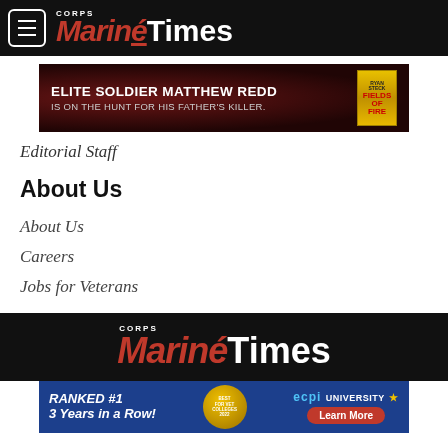Marine Corps Times
[Figure (infographic): Advertisement banner: ELITE SOLDIER MATTHEW REDD IS ON THE HUNT FOR HIS FATHER'S KILLER. with book cover image on right.]
Editorial Staff
About Us
About Us
Careers
Jobs for Veterans
Marine Corps Times
[Figure (infographic): Advertisement: RANKED #1 3 Years in a Row! ECPI University. Learn More button.]